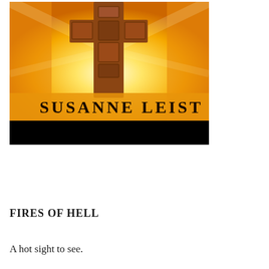[Figure (illustration): Book cover illustration showing a cross-shaped wooden door or structure set against a fiery yellow-orange background with flames. The author name 'SUSANNE LEIST' appears in bold dark serif letters near the bottom of the image, above a black band at the very bottom of the cover.]
FIRES OF HELL
A hot sight to see.